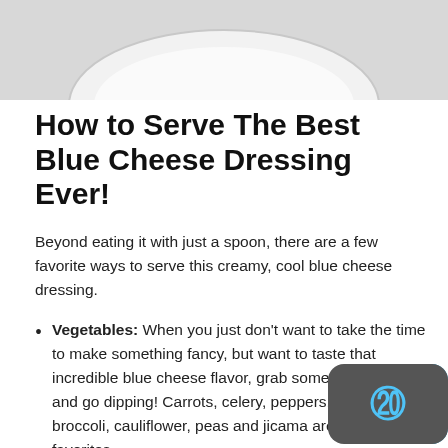[Figure (photo): Top portion of a white bowl containing blue cheese dressing, viewed from above on a light gray background.]
How to Serve The Best Blue Cheese Dressing Ever!
Beyond eating it with just a spoon, there are a few favorite ways to serve this creamy, cool blue cheese dressing.
Vegetables: When you just don't want to take the time to make something fancy, but want to taste that incredible blue cheese flavor, grab some vegetables and go dipping! Carrots, celery, peppers, tomatoes, broccoli, cauliflower, peas and jicama are some of our favorites.
Wings: Buffalo wings and blue cheese dressing were meant to go together. Try Sticky Honey Garlic Buffalo Wings, Buffalo Cauliflower (yes it is amazing), or Air fryer